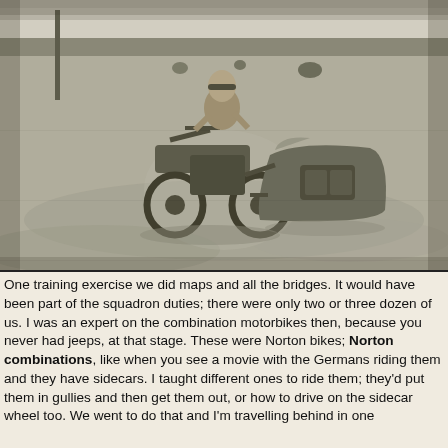[Figure (photo): Black and white photograph of a man riding a motorcycle with a sidecar (Norton combination) on rough terrain. The rider is visible from the waist up, the sidecar is on the right side of the motorcycle. Background shows open land, sparse vegetation, and a treeline in the distance.]
One training exercise we did maps and all the bridges. It would have been part of the squadron duties; there were only two or three dozen of us. I was an expert on the combination motorbikes then, because you never had jeeps, at that stage. These were Norton bikes; Norton combinations, like when you see a movie with the Germans riding them and they have sidecars. I taught different ones to ride them; they'd put them in gullies and then get them out, or how to drive on the sidecar wheel too. We went to do that and I'm travelling behind in one